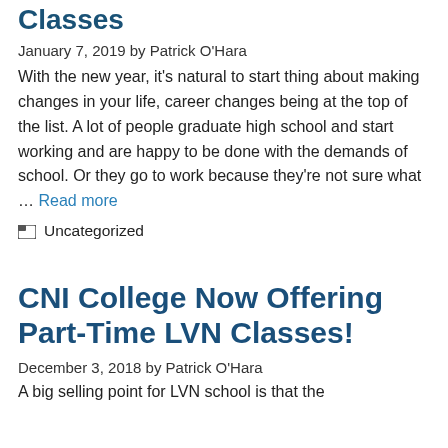Classes
January 7, 2019 by Patrick O'Hara
With the new year, it's natural to start thing about making changes in your life, career changes being at the top of the list. A lot of people graduate high school and start working and are happy to be done with the demands of school. Or they go to work because they're not sure what … Read more
Uncategorized
CNI College Now Offering Part-Time LVN Classes!
December 3, 2018 by Patrick O'Hara
A big selling point for LVN school is that the